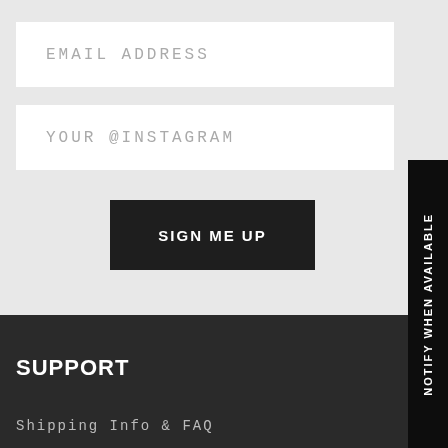EMAIL ADDRESS
YOUR @INSTAGRAM
SIGN ME UP
SUPPORT
Shipping Info & FAQ
NOTIFY WHEN AVAILABLE